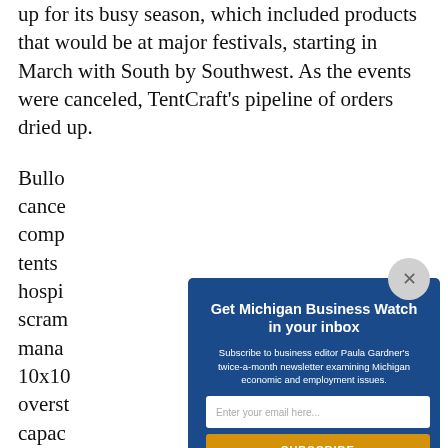up for its busy season, which included products that would be at major festivals, starting in March with South by Southwest. As the events were canceled, TentCraft's pipeline of orders dried up.
Bullock [partially obscured] canceled [partially obscured] company [partially obscured] tents [partially obscured] hospital [partially obscured] scramble [partially obscured] managed [partially obscured] 10x10 [partially obscured] overstocked [partially obscured] capacity [partially obscured] that w[partially obscured]
[Figure (screenshot): Modal popup overlay for newsletter subscription: 'Get Michigan Business Watch in your inbox'. Subscribe to business editor Paula Gardner's twice-a-month newsletter examining Michigan economic and employment issues. Email input field and SUBSCRIBE button. Privacy note: We do not sell or share your information with anyone.]